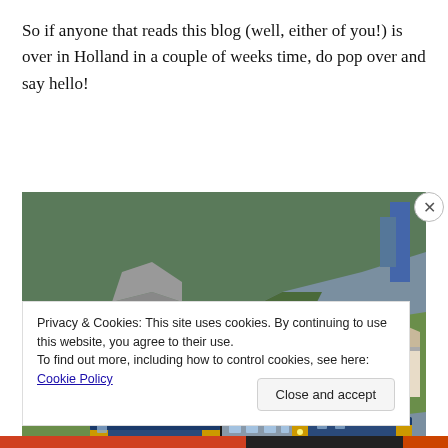So if anyone that reads this blog (well, either of you!) is over in Holland in a couple of weeks time, do pop over and say hello!
[Figure (photo): A model railway diorama showing two model locomotives on tracks, with detailed miniature rocky hillside terrain, a tunnel, and a small model building in the background.]
Privacy & Cookies: This site uses cookies. By continuing to use this website, you agree to their use.
To find out more, including how to control cookies, see here: Cookie Policy
Close and accept